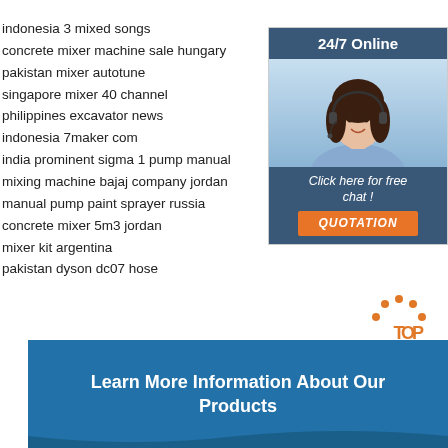indonesia 3 mixed songs
concrete mixer machine sale hungary
pakistan mixer autotune
singapore mixer 40 channel
philippines excavator news
indonesia 7maker com
india prominent sigma 1 pump manual
mixing machine bajaj company jordan
manual pump paint sprayer russia
concrete mixer 5m3 jordan
mixer kit argentina
pakistan dyson dc07 hose
[Figure (other): Customer service widget with 24/7 Online header, photo of woman with headset, Click here for free chat text, and QUOTATION orange button]
Learn More Information About Our Products